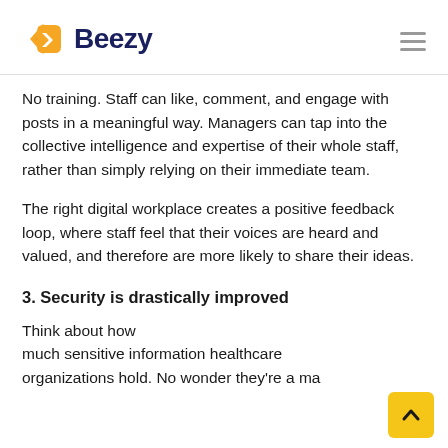Beezy
No training. Staff can like, comment, and engage with posts in a meaningful way. Managers can tap into the collective intelligence and expertise of their whole staff, rather than simply relying on their immediate team.
The right digital workplace creates a positive feedback loop, where staff feel that their voices are heard and valued, and therefore are more likely to share their ideas.
3. Security is drastically improved
Think about how much sensitive information healthcare organizations hold. No wonder they're a ma